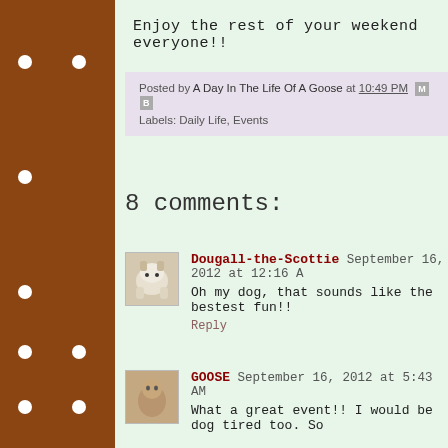Enjoy the rest of your weekend everyone!!
Posted by A Day In The Life Of A Goose at 10:49 PM
Labels: Daily Life, Events
8 comments:
Dougall-the-Scottie September 16, 2012 at 12:16 A
Oh my dog, that sounds like the bestest fun!!
Reply
GOOSE September 16, 2012 at 5:43 AM
What a great event!! I would be dog tired too. So